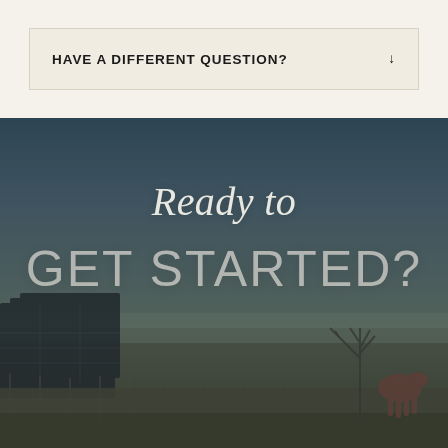HAVE A DIFFERENT QUESTION?
[Figure (photo): Outdoor rural scene with solar panels on the left and a horse grazing in a field on the right, with bare trees and a dusky sky. Text overlay reads 'Ready to GET STARTED?']
Ready to GET STARTED?